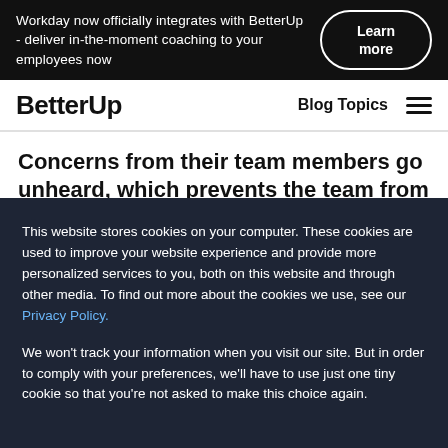Workday now officially integrates with BetterUp - deliver in-the-moment coaching to your employees now | Learn more
BetterUp | Blog Topics
Concerns from their team members go unheard, which prevents the team from improving. It also
This website stores cookies on your computer. These cookies are used to improve your website experience and provide more personalized services to you, both on this website and through other media. To find out more about the cookies we use, see our Privacy Policy.

We won't track your information when you visit our site. But in order to comply with your preferences, we'll have to use just one tiny cookie so that you're not asked to make this choice again.
Accept
Reject